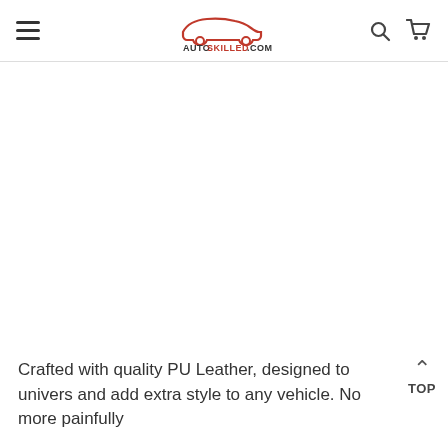AUTOSKILLED.COM navigation header with hamburger menu, logo, search and cart icons
[Figure (other): Large white blank product image area below navigation header]
Crafted with quality PU Leather, designed to univers and add extra style to any vehicle. No more painfully
[Figure (other): TOP scroll-to-top button with chevron arrow in bottom right corner]